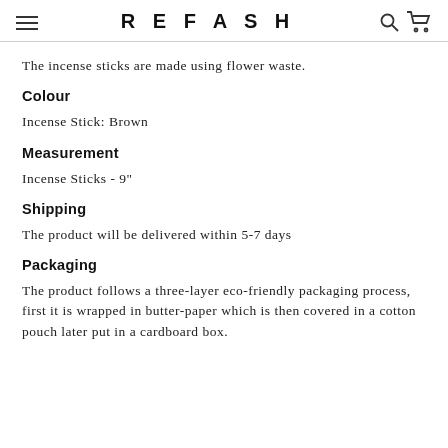REFASH
The incense sticks are made using flower waste.
Colour
Incense Stick: Brown
Measurement
Incense Sticks - 9"
Shipping
The product will be delivered within 5-7 days
Packaging
The product follows a three-layer eco-friendly packaging process, first it is wrapped in butter-paper which is then covered in a cotton pouch later put in a cardboard box.